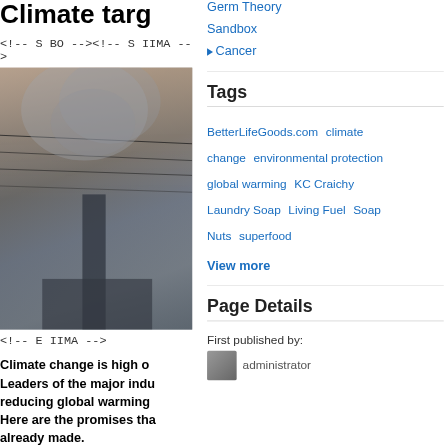Climate targ
<!-- S BO --><!-- S IIMA -->
[Figure (photo): Smoky industrial scene with power lines and smokestack silhouette against a hazy sky]
<!-- E IIMA -->
Climate change is high o Leaders of the major indu reducing global warming Here are the promises tha already made.
G8
Germ Theory
Sandbox
Cancer
Tags
BetterLifeGoods.com
climate
change
environmental protection
global warming
KC Craichy
Laundry Soap
Living Fuel
Soap
Nuts
superfood
View more
Page Details
First published by:
administrator